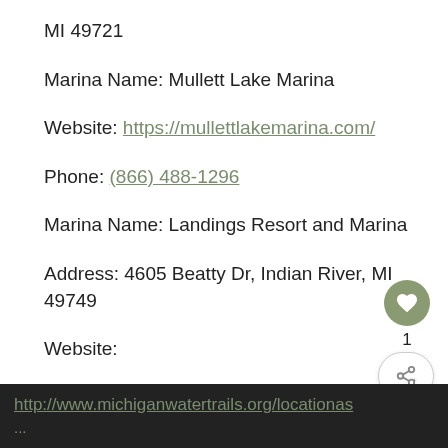MI 49721
Marina Name: Mullett Lake Marina
Website: https://mullettlakemarina.com/
Phone: (866) 488-1296
Marina Name: Landings Resort and Marina
Address: 4605 Beatty Dr, Indian River, MI 49749
Website:
http://www.michiganwatertrails.org/locationas...